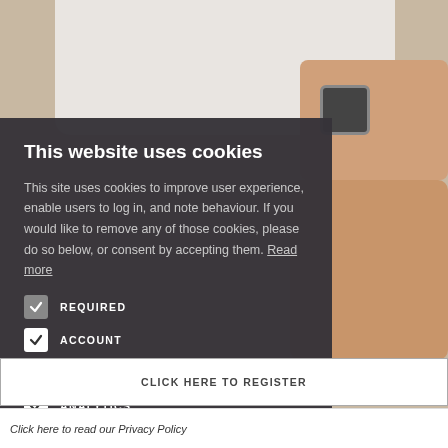[Figure (screenshot): Background showing a man in a white t-shirt with a watch, website page partially visible behind a cookie consent modal dialog.]
This website uses cookies
This site uses cookies to improve user experience, enable users to log in, and note behaviour. If you would like to remove any of those cookies, please do so below, or consent by accepting them. Read more
REQUIRED
ACCOUNT
FUNCTIONALITY
ANALYTICS
ACCEPT ALL
DECLINE ALL
Click here to read our Privacy Policy